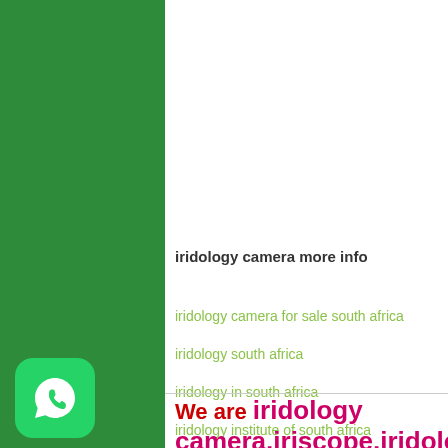iridology camera more info
iridology camera for sale south africa
iridology south africa
iridology in south africa
iridology institute of south africa
iridology practitioners south africa
We are iridology camera,iriscope,iridologic camera,iris...